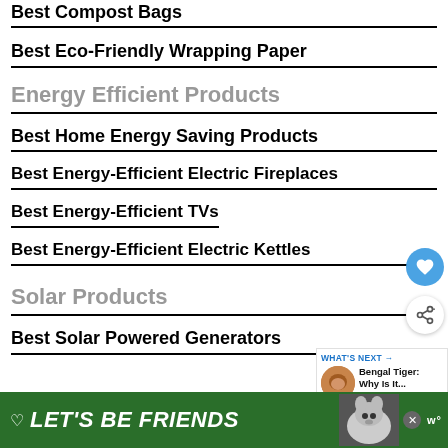Best Compost Bags
Best Eco-Friendly Wrapping Paper
Energy Efficient Products
Best Home Energy Saving Products
Best Energy-Efficient Electric Fireplaces
Best Energy-Efficient TVs
Best Energy-Efficient Electric Kettles
Solar Products
Best Solar Powered Generators
[Figure (other): Advertisement banner: green background with 'LET'S BE FRIENDS' text and a husky dog image]
[Figure (other): Floating heart favorite button (blue circle) and share button (white circle with shadow)]
[Figure (other): What's Next promo card: Bengal Tiger: Why Is It...]